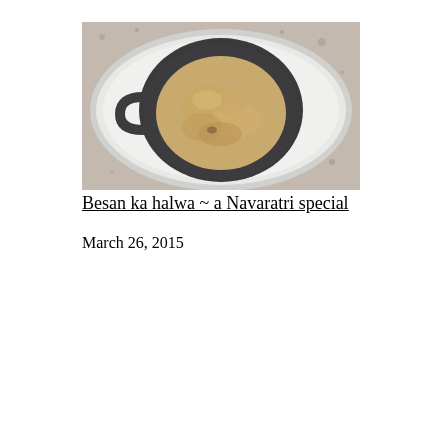[Figure (photo): Top-down view of a dark gray/black cup on a white saucer sitting on a speckled granite surface. The cup contains besan ka halwa, a golden-tan colored dense sweet dish. The cup has a handle on the left side.]
Besan ka halwa ~ a Navaratri special
March 26, 2015